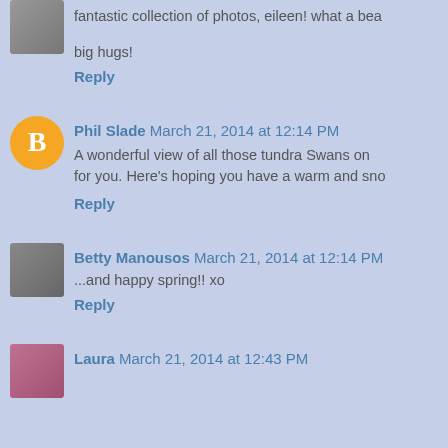fantastic collection of photos, eileen! what a bea
big hugs!
Reply
Phil Slade March 21, 2014 at 12:14 PM
A wonderful view of all those tundra Swans on for you. Here's hoping you have a warm and sno
Reply
Betty Manousos March 21, 2014 at 12:14 PM
...and happy spring!! xo
Reply
Laura March 21, 2014 at 12:43 PM